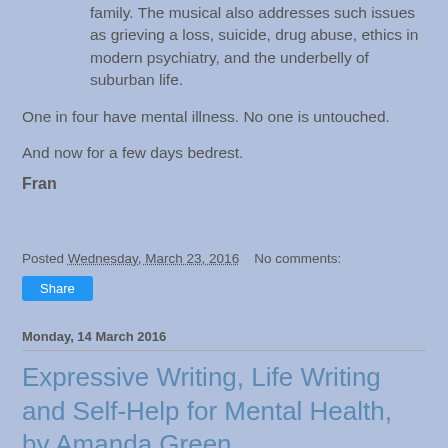family. The musical also addresses such issues as grieving a loss, suicide, drug abuse, ethics in modern psychiatry, and the underbelly of suburban life.
One in four have mental illness. No one is untouched.
And now for a few days bedrest.
Fran
Posted Wednesday, March 23, 2016   No comments:
Share
Monday, 14 March 2016
Expressive Writing, Life Writing and Self-Help for Mental Health, by Amanda Green